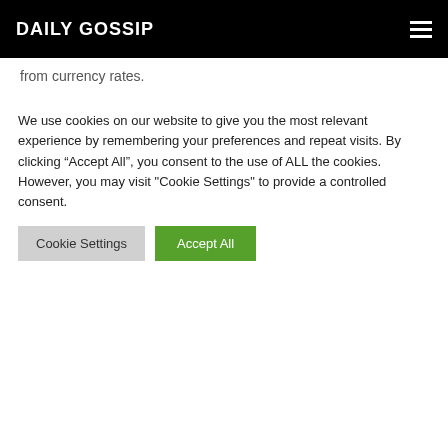DAILY GOSSIP
from currency rates.
[Figure (infographic): Social share buttons: Facebook (blue), Twitter (light blue), Reddit (orange), Pinterest (red), WhatsApp (green), Share (orange)]
We use cookies on our website to give you the most relevant experience by remembering your preferences and repeat visits. By clicking “Accept All”, you consent to the use of ALL the cookies. However, you may visit "Cookie Settings" to provide a controlled consent.